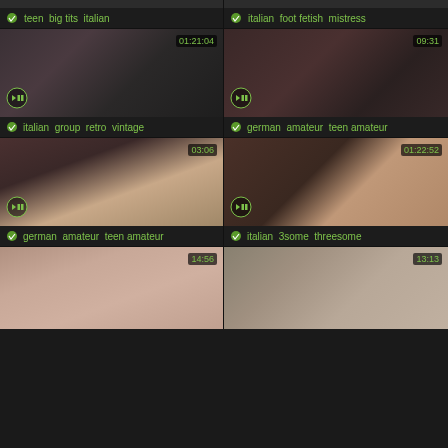[Figure (screenshot): Video thumbnail grid showing adult video thumbnails with tags and durations]
teen  big tits  italian
italian  foot fetish  mistress
italian  group  retro  vintage
german  amateur  teen amateur
german  amateur  teen amateur
italian  3some  threesome